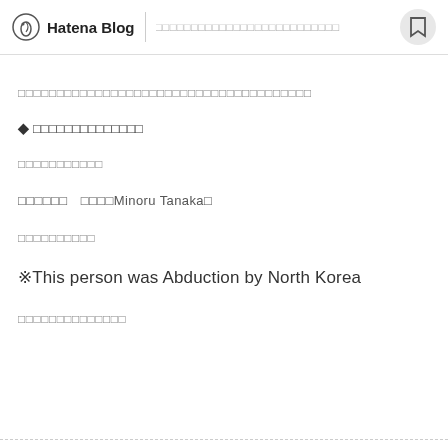Hatena Blog | □□□□□□□□□□□□□□□□□□□□□□□□
□□□□□□□□□□□□□□□□□□□□□□□□□□□□□□□□□□□
◆□□□□□□□□□□□□□
□□□□□□□□□□□
□□□□□□　□□□□Minoru Tanaka□
□□□□□□□□□□
※This person was Abduction by North Korea
□□□□□□□□□□□□□□